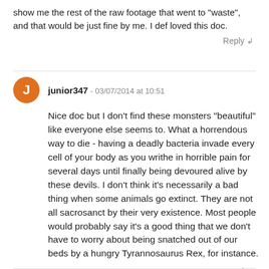show me the rest of the raw footage that went to "waste", and that would be just fine by me. I def loved this doc.
Reply
junior347 - 03/07/2014 at 10:51
Nice doc but I don't find these monsters "beautiful" like everyone else seems to. What a horrendous way to die - having a deadly bacteria invade every cell of your body as you writhe in horrible pain for several days until finally being devoured alive by these devils. I don't think it's necessarily a bad thing when some animals go extinct. They are not all sacrosanct by their very existence. Most people would probably say it's a good thing that we don't have to worry about being snatched out of our beds by a hungry Tyrannosaurus Rex, for instance.
Reply